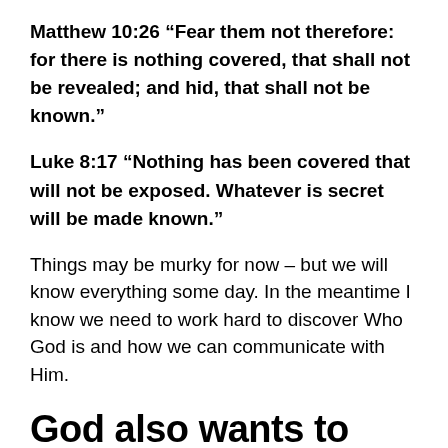Matthew 10:26 “Fear them not therefore: for there is nothing covered, that shall not be revealed; and hid, that shall not be known.”
Luke 8:17 “Nothing has been covered that will not be exposed. Whatever is secret will be made known.”
Things may be murky for now – but we will know everything some day. In the meantime I know we need to work hard to discover Who God is and how we can communicate with Him.
God also wants to reveal